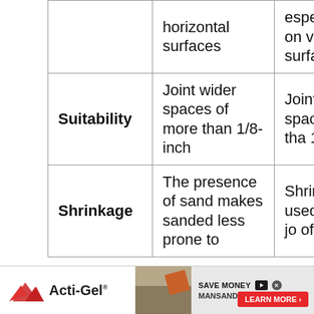|  | horizontal surfaces | especially on vertical surfaces |
| Suitability | Joint wider spaces of more than 1/8-inch | Joint smaller spaces less than 1/8-inch |
| Shrinkage | The presence of sand makes sanded less prone to | Shrink crack if used on wider joints of more |
[Figure (other): Advertisement banner for Acti-Gel product with mountain logo, 'SAVE MONEY' text, 'MANSAND ADDITIVE' company name, and 'LEARN MORE' button]